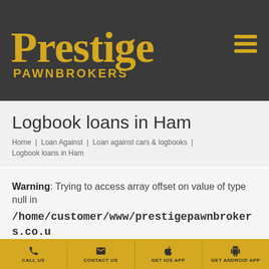[Figure (logo): Prestige Pawnbrokers logo in gold/yellow serif font on dark grey background, with hamburger menu icon in top right]
Logbook loans in Ham
Home | Loan Against | Loan against cars & logbooks | Logbook loans in Ham
Warning: Trying to access array offset on value of type null in /home/customer/www/prestigepawnbrokers.co.u content/plugins/fusion-
CALL US | CONTACT US | GET iOS APP | GET ANDROID APP